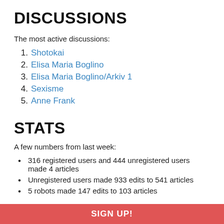DISCUSSIONS
The most active discussions:
1. Shotokai
2. Elisa Maria Boglino
3. Elisa Maria Boglino/Arkiv 1
4. Sexisme
5. Anne Frank
STATS
A few numbers from last week:
316 registered users and 444 unregistered users made 4 articles
Unregistered users made 933 edits to 541 articles
5 robots made 147 edits to 103 articles
SIGN UP!